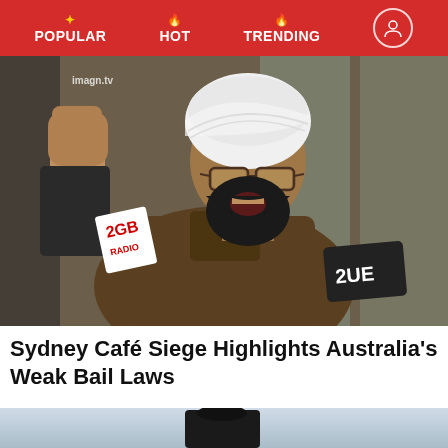POPULAR | HOT | TRENDING
[Figure (photo): Man in white turban and glasses holding fist up, speaking into microphones labeled 2GB and 2UE]
Sydney Café Siege Highlights Australia's Weak Bail Laws
[Figure (photo): Partial image at bottom of page, dark object visible against sky background]